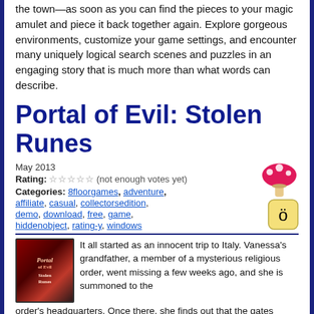the town—as soon as you can find the pieces to your magic amulet and piece it back together again. Explore gorgeous environments, customize your game settings, and encounter many uniquely logical search scenes and puzzles in an engaging story that is much more than what words can describe.
Portal of Evil: Stolen Runes
May 2013
Rating: ☆☆☆☆☆ (not enough votes yet)
Categories: 8floorgames, adventure, affiliate, casual, collectorsedition, demo, download, free, game, hiddenobject, rating-y, windows
It all started as an innocent trip to Italy. Vanessa's grandfather, a member of a mysterious religious order, went missing a few weeks ago, and she is summoned to the order's headquarters. Once there, she finds out that the gates guarding peace on Earth are all but wide open because some cheeky prankster has